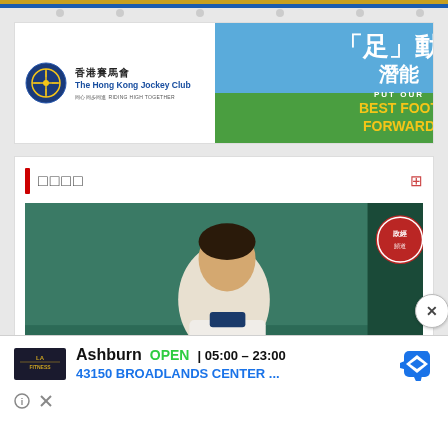[Figure (screenshot): Top decorative banner strip with icons/illustrations]
[Figure (photo): Hong Kong Jockey Club advertisement banner: logo with circular emblem, Chinese text '香港賽馬會', English text 'The Hong Kong Jockey Club', tagline '同心同步同進 RIDING HIGH TOGETHER', right side shows football/soccer image with Chinese '「足」動潛能' and English 'PUT OUR BEST FOOT FORWARD' on blue/green gradient background]
□□□□
[Figure (screenshot): Video thumbnail showing a young Asian fencer in white fencing gear (plastron) against teal/green background, with a circular watermark badge in top right corner]
[Figure (advertisement): LA Fitness advertisement showing: Ashburn OPEN 05:00–23:00, address 43150 BROADLANDS CENTER ..., with navigation/directions icon, info and close buttons]